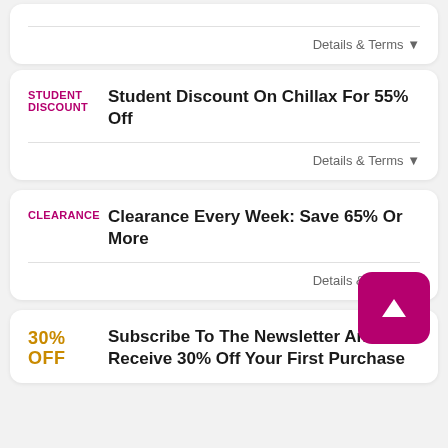Details & Terms ▼
STUDENT DISCOUNT
Student Discount On Chillax For 55% Off
Details & Terms ▼
CLEARANCE
Clearance Every Week: Save 65% Or More
Details & Terms ▼
30% OFF
Subscribe To The Newsletter And Receive 30% Off Your First Purchase